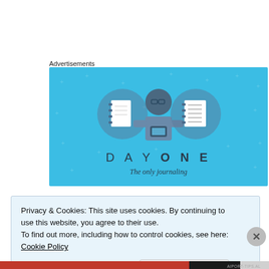Advertisements
[Figure (illustration): Day One app advertisement banner with light blue background showing a cartoon person holding a phone, flanked by two notebook icons. Text reads DAY ONE and The only journaling...]
Privacy & Cookies: This site uses cookies. By continuing to use this website, you agree to their use.
To find out more, including how to control cookies, see here: Cookie Policy
Close and accept